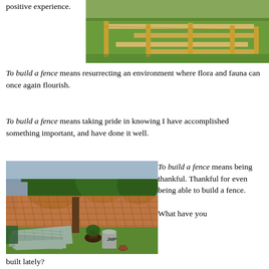positive experience.
[Figure (photo): Outdoor photo showing wooden fence frame/posts on green grass lawn, viewed from above at an angle.]
To build a fence means resurrecting an environment where flora and fauna can once again flourish.
To build a fence means taking pride in knowing I have accomplished something important, and have done it well.
[Figure (photo): Backyard scene with a completed lattice-style wooden fence in background, trees, a house, scattered fence panels and lattice pieces on the ground, a barrel and potted plant in the yard.]
To build a fence means being thankful. Thankful for even being able to build a fence.

What have you built lately?